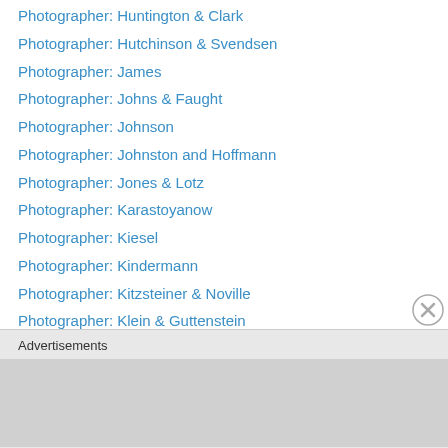Photographer: Huntington & Clark
Photographer: Hutchinson & Svendsen
Photographer: James
Photographer: Johns & Faught
Photographer: Johnson
Photographer: Johnston and Hoffmann
Photographer: Jones & Lotz
Photographer: Karastoyanow
Photographer: Kiesel
Photographer: Kindermann
Photographer: Kitzsteiner & Noville
Photographer: Klein & Guttenstein
Photographer: Koester
Photographer: Kolbl
Photographer: Koopman
Photographer: Kopke
Photographer: Krziwanck (partial)
Advertisements